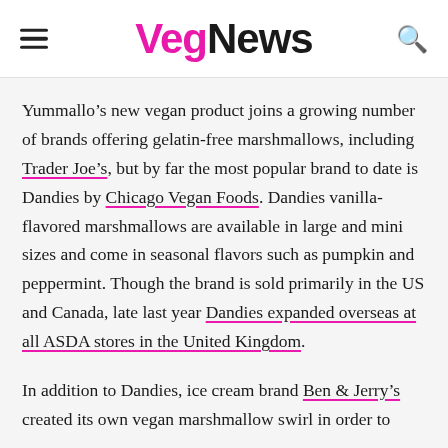VegNews
Yummallo's new vegan product joins a growing number of brands offering gelatin-free marshmallows, including Trader Joe's, but by far the most popular brand to date is Dandies by Chicago Vegan Foods. Dandies vanilla-flavored marshmallows are available in large and mini sizes and come in seasonal flavors such as pumpkin and peppermint. Though the brand is sold primarily in the US and Canada, late last year Dandies expanded overseas at all ASDA stores in the United Kingdom.
In addition to Dandies, ice cream brand Ben & Jerry's created its own vegan marshmallow swirl in order to